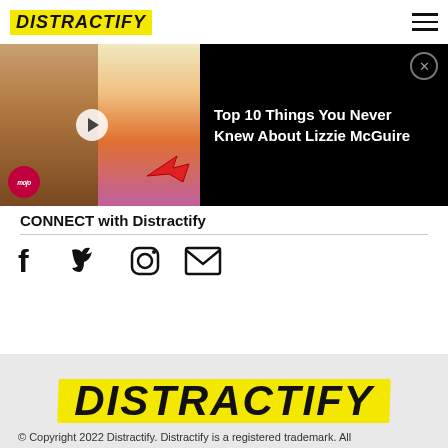DISTRACTIFY
[Figure (screenshot): Video thumbnail showing Lizzie McGuire - real actress on left, cartoon character on right, with WatchMojo logo and play button. Video title: Top 10 Things You Never Knew About Lizzie McGuire]
CONNECT with Distractify
[Figure (infographic): Social media icons: Facebook, Twitter, Instagram, Email]
[Figure (logo): DISTRACTIFY logo in large bold italic text with yellow highlight background]
© Copyright 2022 Distractify. Distractify is a registered trademark. All